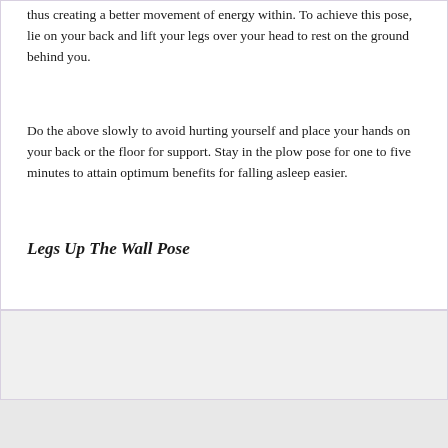thus creating a better movement of energy within. To achieve this pose, lie on your back and lift your legs over your head to rest on the ground behind you.
Do the above slowly to avoid hurting yourself and place your hands on your back or the floor for support. Stay in the plow pose for one to five minutes to attain optimum benefits for falling asleep easier.
Legs Up The Wall Pose